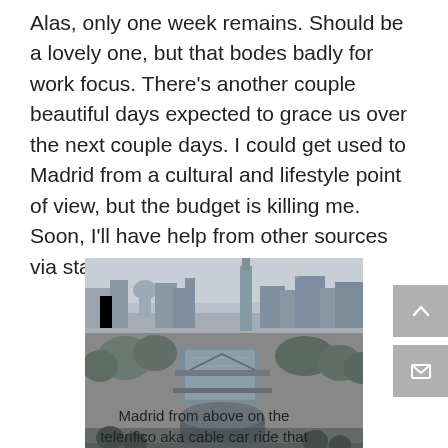Alas, only one week remains. Should be a lovely one, but that bodes badly for work focus. There's another couple beautiful days expected to grace us over the next couple days. I could get used to Madrid from a cultural and lifestyle point of view, but the budget is killing me. Soon, I'll have help from other sources via staying with friends.
[Figure (photo): Black and white aerial photograph of Madrid showing the city skyline with a river, bridges, and urban park area viewed from above (telerifico / cable car perspective).]
Madrid from above on the telerifico aka cable car ride that